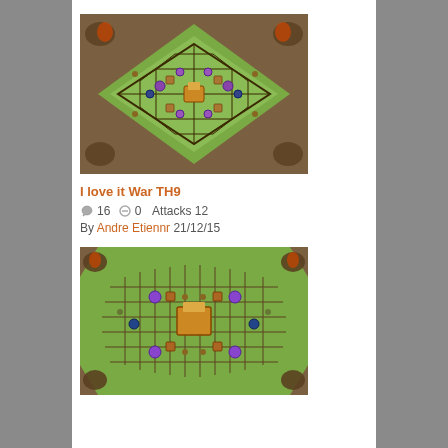[Figure (screenshot): Clash of Clans base layout - diamond shaped war base TH9 with walls, defenses, and green grass field with brown rocky border]
I love it  War TH9
👍16  💬 0   Attacks 12
By Andre Etiennr  21/12/15
[Figure (screenshot): Second Clash of Clans base layout - war base with diamond/grid pattern, purple and dark troops/buildings on green field]